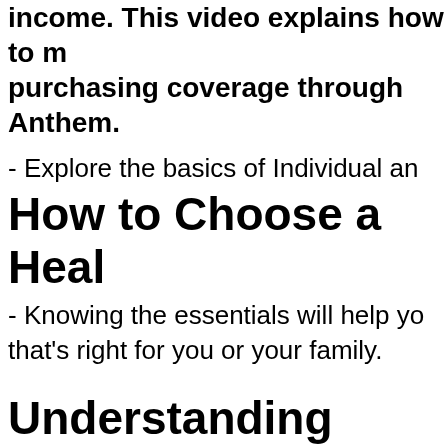income. This video explains how to make a decision when purchasing coverage through Anthem.
- Explore the basics of Individual an...
How to Choose a Heal...
- Knowing the essentials will help you... that's right for you or your family.
Understanding Health...